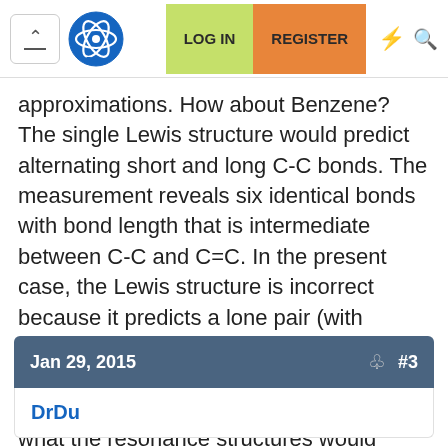Navigation bar with LOG IN and REGISTER buttons
approximations. How about Benzene? The single Lewis structure would predict alternating short and long C-C bonds. The measurement reveals six identical bonds with bond length that is intermediate between C-C and C=C. In the present case, the Lewis structure is incorrect because it predicts a lone pair (with negative charge) on a single carbon -- the lower energy form is with the charge spread out over the entire ring, which is what the resonance structures would predict.
Jan 29, 2015  #3
DrDu